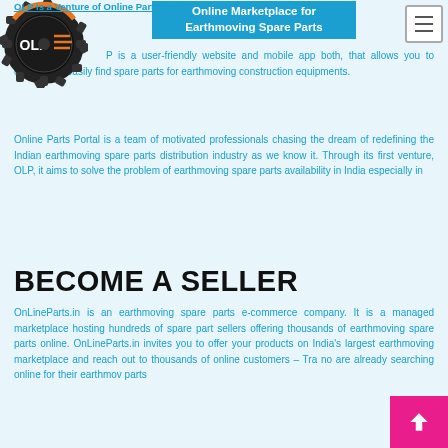OLP is a Venture of Online Parts Portal.
[Figure (logo): OLP gear/cog logo with orange and black design, circular shape with OLP text]
Online Marketplace for Earthmoving Spare Parts
OLP is a user-friendly website and mobile app both, that allows you to quickly and easily find spare parts for earthmoving construction equipments.
Online Parts Portal is a team of motivated professionals chasing the dream of redefining the Indian earthmoving spare parts distribution industry as we know it. Through its first venture, OLP, it aims to solve the problem of earthmoving spare parts availability in India especially in
BECOME A SELLER
OnLineParts.in is an earthmoving spare parts e-commerce company. It is a managed marketplace hosting hundreds of spare part sellers offering thousands of earthmoving spare parts online. OnLineParts.in invites you to offer your products on India's largest earthmoving marketplace and reach out to thousands of online customers – Tra no are already searching online for their earthmoving parts